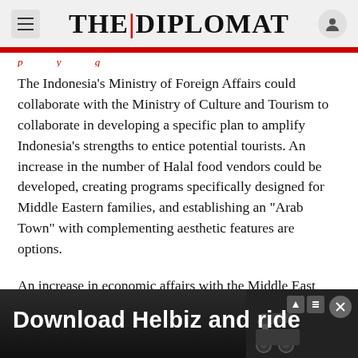THE DIPLOMAT
The Indonesia’s Ministry of Foreign Affairs could collaborate with the Ministry of Culture and Tourism to collaborate in developing a specific plan to amplify Indonesia’s strengths to entice potential tourists. An increase in the number of Halal food vendors could be developed, creating programs specifically designed for Middle Eastern families, and establishing an “Arab Town” with complementing aesthetic features are options.
An increase in economic affairs with the Middle East will not only benefit Indonesia’s financial welfare, but it will strengthen its general foreign
[Figure (screenshot): Advertisement banner at bottom of screen showing 'Download Helbiz and ride' text over a dark background with a scooter image]